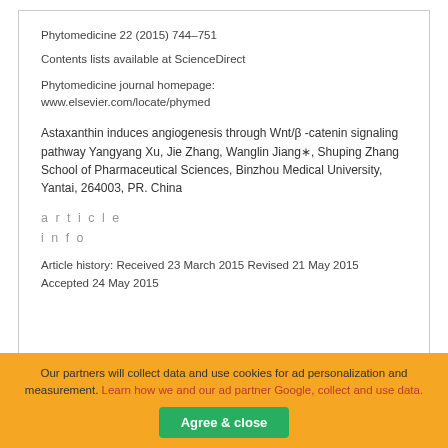Phytomedicine 22 (2015) 744–751
Contents lists available at ScienceDirect
Phytomedicine journal homepage: www.elsevier.com/locate/phymed
Astaxanthin induces angiogenesis through Wnt/β -catenin signaling pathway Yangyang Xu, Jie Zhang, Wanglin Jiang∗, Shuping Zhang School of Pharmaceutical Sciences, Binzhou Medical University, Yantai, 264003, PR. China
a r t i c l e
i n f o
Article history: Received 23 March 2015 Revised 21 May 2015 Accepted 24 May 2015
Our partners will collect data and use cookies for ad personalization and measurement. Learn how we and our ad partner Google, collect and use data.
Agree & close